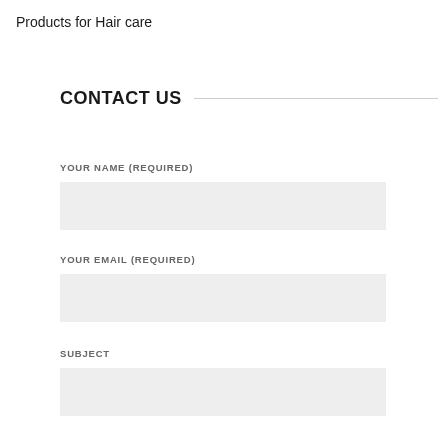Products for Hair care
CONTACT US
YOUR NAME (REQUIRED)
YOUR EMAIL (REQUIRED)
SUBJECT